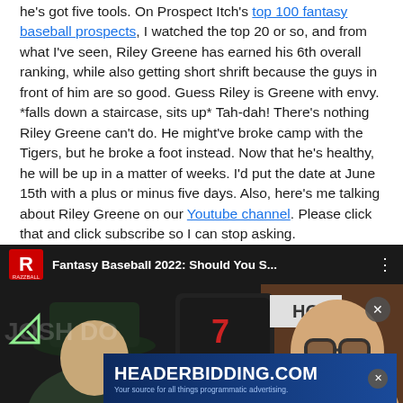he's got five tools. On Prospect Itch's top 100 fantasy baseball prospects, I watched the top 20 or so, and from what I've seen, Riley Greene has earned his 6th overall ranking, while also getting short shrift because the guys in front of him are so good. Guess Riley is Greene with envy. *falls down a staircase, sits up* Tah-dah! There's nothing Riley Greene can't do. He might've broke camp with the Tigers, but he broke a foot instead. Now that he's healthy, he will be up in a matter of weeks. I'd put the date at June 15th with a plus or minus five days. Also, here's me talking about Riley Greene on our Youtube channel. Please click that and click subscribe so I can stop asking.
[Figure (screenshot): YouTube video thumbnail showing 'Fantasy Baseball 2022: Should You S...' from the Razzball channel, with two people visible and a HEADERBIDDING.COM advertisement overlay at the bottom.]